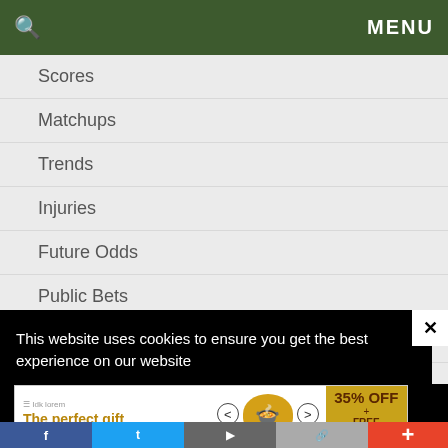🔍  MENU
Scores
Matchups
Trends
Injuries
Future Odds
Public Bets
Teams
NCAABB
Forum
This website uses cookies to ensure you get the best experience on our website
[Figure (screenshot): Advertisement banner: The perfect gift, 35% OFF + FREE SHIPPING]
+